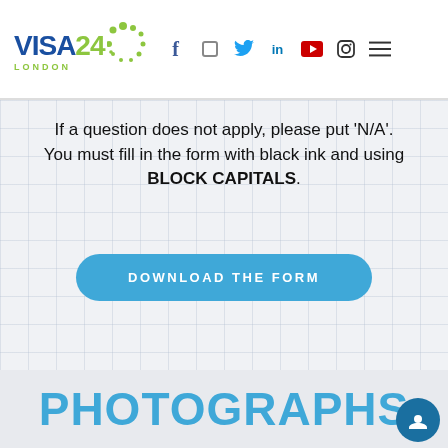Visa24 London — navigation header with social icons
If a question does not apply, please put 'N/A'. You must fill in the form with black ink and using BLOCK CAPITALS.
[Figure (other): Blue rounded button with text DOWNLOAD THE FORM]
PHOTOGRAPHS